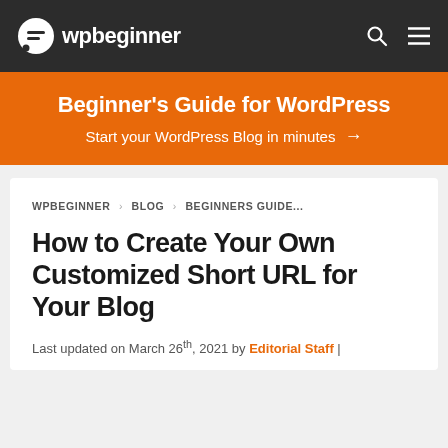wpbeginner
Beginner's Guide for WordPress — Start your WordPress Blog in minutes →
WPBEGINNER › BLOG › BEGINNERS GUIDE...
How to Create Your Own Customized Short URL for Your Blog
Last updated on March 26th, 2021 by Editorial Staff |